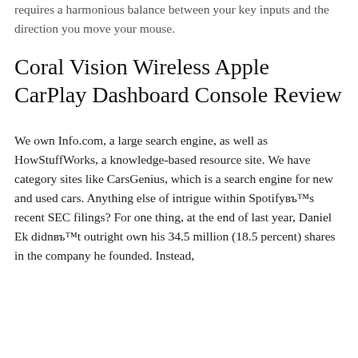requires a harmonious balance between your key inputs and the direction you move your mouse.
Coral Vision Wireless Apple CarPlay Dashboard Console Review
We own Info.com, a large search engine, as well as HowStuffWorks, a knowledge-based resource site. We have category sites like CarsGenius, which is a search engine for new and used cars. Anything else of intrigue within Spotifyвђ™s recent SEC filings? For one thing, at the end of last year, Daniel Ek didnвђ™t outright own his 34.5 million (18.5 percent) shares in the company he founded. Instead,